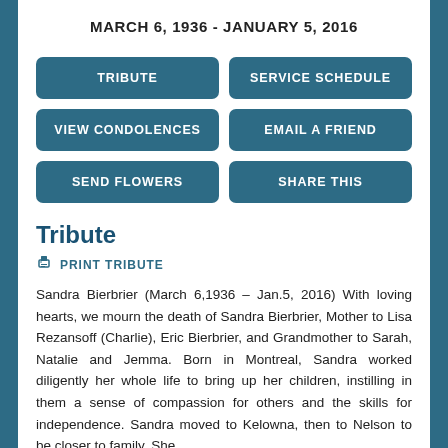MARCH 6, 1936 - JANUARY 5, 2016
TRIBUTE | SERVICE SCHEDULE | VIEW CONDOLENCES | EMAIL A FRIEND | SEND FLOWERS | SHARE THIS
Tribute
PRINT TRIBUTE
Sandra Bierbrier (March 6,1936 – Jan.5, 2016) With loving hearts, we mourn the death of Sandra Bierbrier, Mother to Lisa Rezansoff (Charlie), Eric Bierbrier, and Grandmother to Sarah, Natalie and Jemma. Born in Montreal, Sandra worked diligently her whole life to bring up her children, instilling in them a sense of compassion for others and the skills for independence. Sandra moved to Kelowna, then to Nelson to be closer to family. She